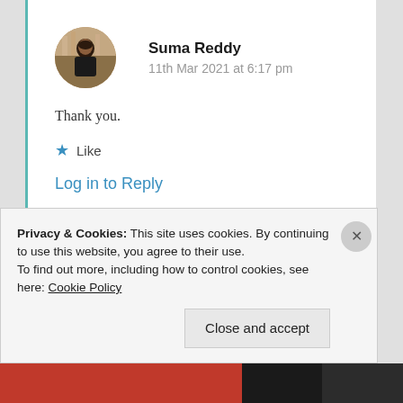[Figure (photo): Circular avatar photo of Suma Reddy, a woman with dark hair]
Suma Reddy
11th Mar 2021 at 6:17 pm
Thank you.
★ Like
Log in to Reply
Privacy & Cookies: This site uses cookies. By continuing to use this website, you agree to their use.
To find out more, including how to control cookies, see here: Cookie Policy
Close and accept